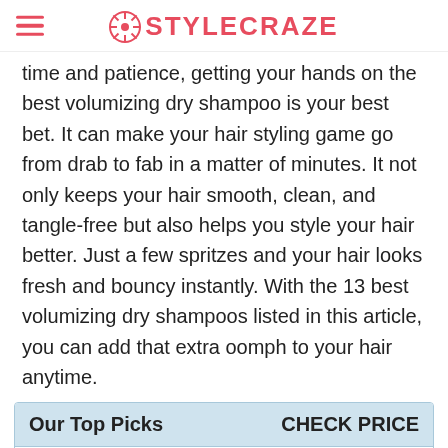STYLECRAZE
time and patience, getting your hands on the best volumizing dry shampoo is your best bet. It can make your hair styling game go from drab to fab in a matter of minutes. It not only keeps your hair smooth, clean, and tangle-free but also helps you style your hair better. Just a few spritzes and your hair looks fresh and bouncy instantly. With the 13 best volumizing dry shampoos listed in this article, you can add that extra oomph to your hair anytime.
| Our Top Picks | CHECK PRICE |
| --- | --- |
| Best For Color Treated Hair: Aveeno Fresh Greens Blend | Price on Amazon |